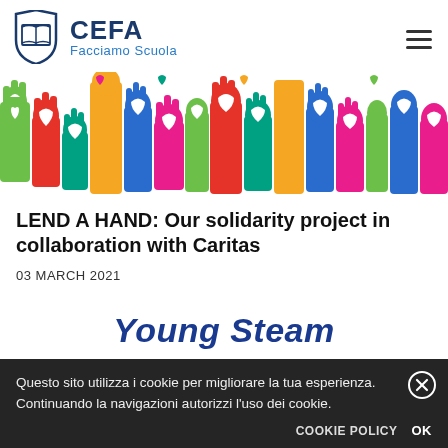CEFA Facciamo Scuola
[Figure (illustration): Colorful raised hands with hearts banner image]
LEND A HAND: Our solidarity project in collaboration with Caritas
03 MARCH 2021
Young Steam
Questo sito utilizza i cookie per migliorare la tua esperienza. Continuando la navigazioni autorizzi l'uso dei cookie.
COOKIE POLICY  OK